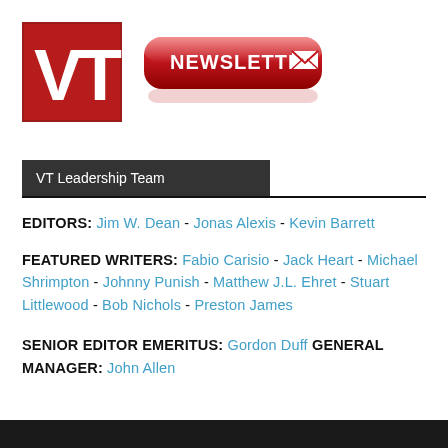[Figure (logo): VT logo (white VT letters on dark red square) and a red glossy NEWSLETTER button with envelope icon]
VT Leadership Team
EDITORS: Jim W. Dean - Jonas Alexis - Kevin Barrett
FEATURED WRITERS: Fabio Carisio - Jack Heart - Michael Shrimpton - Johnny Punish - Matthew J.L. Ehret - Stuart Littlewood - Bob Nichols - Preston James
SENIOR EDITOR EMERITUS: Gordon Duff GENERAL MANAGER: John Allen